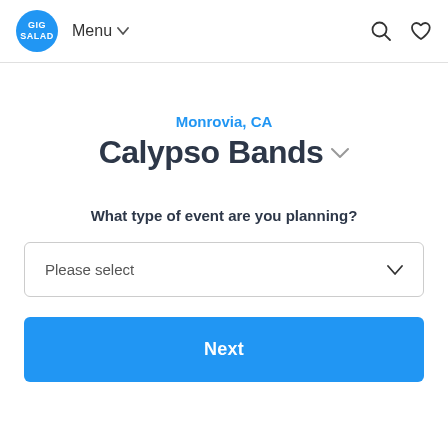GIG SALAD  Menu  [search icon] [heart icon]
Monrovia, CA
Calypso Bands
What type of event are you planning?
Please select
Next